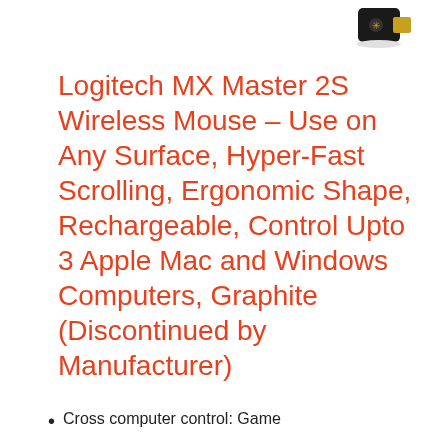[Figure (photo): Small USB wireless receiver dongle, black with a gold/orange connector end]
Logitech MX Master 2S Wireless Mouse – Use on Any Surface, Hyper-Fast Scrolling, Ergonomic Shape, Rechargeable, Control Upto 3 Apple Mac and Windows Computers, Graphite (Discontinued by Manufacturer)
Cross computer control: Game